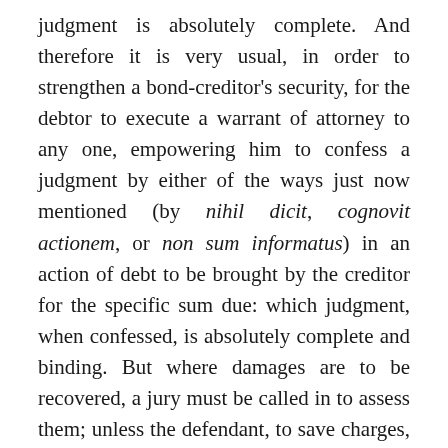judgment is absolutely complete. And therefore it is very usual, in order to strengthen a bond-creditor's security, for the debtor to execute a warrant of attorney to any one, empowering him to confess a judgment by either of the ways just now mentioned (by nihil dicit, cognovit actionem, or non sum informatus) in an action of debt to be brought by the creditor for the specific sum due: which judgment, when confessed, is absolutely complete and binding. But where damages are to be recovered, a jury must be called in to assess them; unless the defendant, to save charges, will confess the whole damages laid in the declaration: otherwise the entry of the judgment is, “that the plaintiff ought to recover his damages, (indefinitely) but, because the court know not what damages the said plaintiff has sustained,